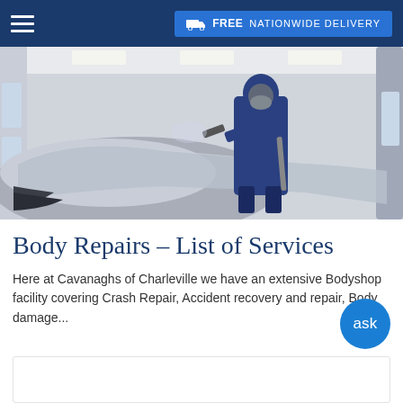FREE NATIONWIDE DELIVERY
[Figure (photo): A person in a protective suit and respirator mask spraying paint on a car inside a paint booth. The worker is dressed in blue overalls and the car is wrapped in protective sheeting. The booth interior is white with lighting overhead.]
Body Repairs – List of Services
Here at Cavanaghs of Charleville we have an extensive Bodyshop facility covering Crash Repair, Accident recovery and repair, Body damage...